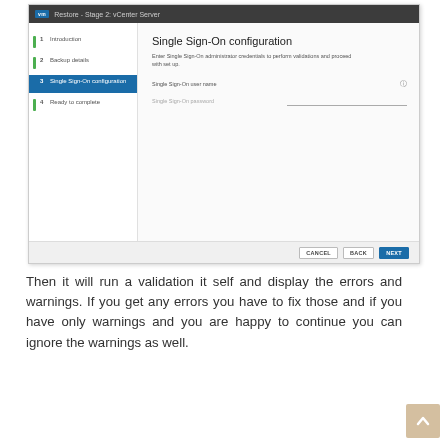[Figure (screenshot): VMware vCenter Restore - Stage 2 dialog showing Single Sign-On configuration step. Left sidebar shows steps: 1 Introduction, 2 Backup details, 3 Single Sign-On configuration (active/highlighted), 4 Ready to complete. Right panel shows form fields for Single Sign-On user name and Single Sign-On password. Bottom has CANCEL, BACK, and NEXT buttons.]
Then it will run a validation it self and display the errors and warnings. If you get any errors you have to fix those and if you have only warnings and you are happy to continue you can ignore the warnings as well.